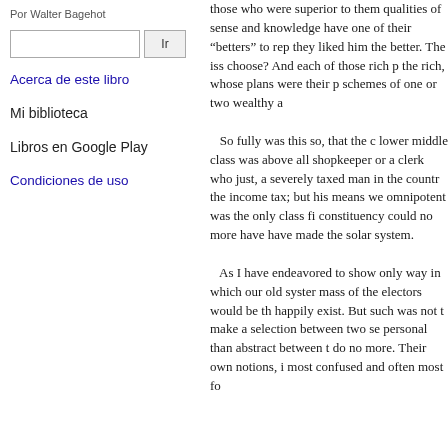Por Walter Bagehot
Acerca de este libro
Mi biblioteca
Libros en Google Play
Condiciones de uso
those who were superior to them qualities of sense and knowledge have one of their “betters” to rep they liked him the better. The iss choose? And each of those rich p the rich, whose plans were their p schemes of one or two wealthy a

 So fully was this so, that the c lower middle class was above all shopkeeper or a clerk who just, a severely taxed man in the countr the income tax; but his means we omnipotent was the only class fi constituency could no more have have made the solar system.

 As I have endeavored to show only way in which our old syster mass of the electors would be th happily exist. But such was not t make a selection between two se personal than abstract between t do no more. Their own notions, i most confused and often most fo